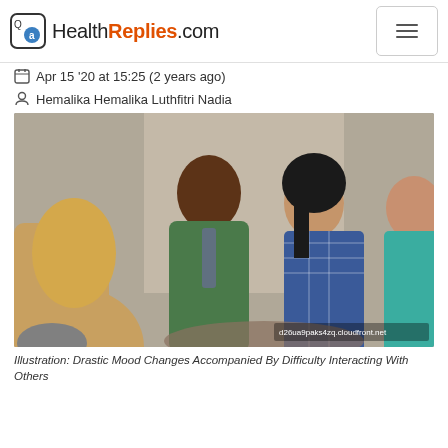HealthReplies.com
Apr 15 '20 at 15:25 (2 years ago)
Hemalika Hemalika Luthfitri Nadia
[Figure (photo): Group of four people sitting together in a discussion or support group setting. A blonde woman seen from behind, a Black man in a blue shirt, an Asian woman in a blue plaid shirt speaking, and a woman in a teal top on the right.]
Illustration: Drastic Mood Changes Accompanied By Difficulty Interacting With Others